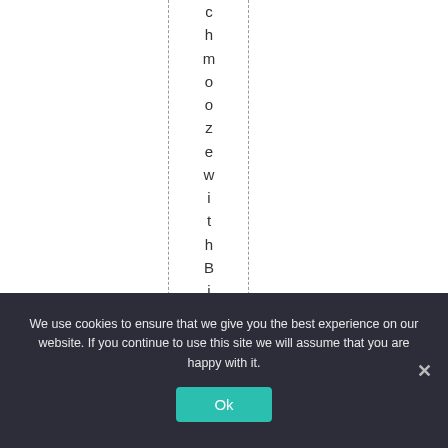chmoozewithBigMone
We use cookies to ensure that we give you the best experience on our website. If you continue to use this site we will assume that you are happy with it.